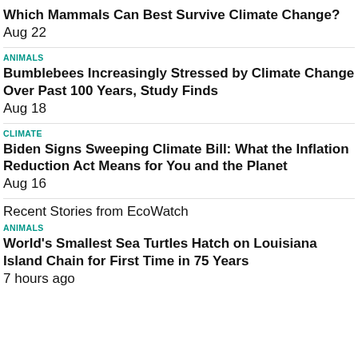Which Mammals Can Best Survive Climate Change?
Aug 22
ANIMALS
Bumblebees Increasingly Stressed by Climate Change Over Past 100 Years, Study Finds
Aug 18
CLIMATE
Biden Signs Sweeping Climate Bill: What the Inflation Reduction Act Means for You and the Planet
Aug 16
Recent Stories from EcoWatch
ANIMALS
World's Smallest Sea Turtles Hatch on Louisiana Island Chain for First Time in 75 Years
7 hours ago